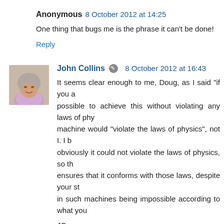Anonymous 8 October 2012 at 14:25
One thing that bugs me is the phrase it can't be done!
Reply
[Figure (photo): Avatar photo of John Collins, a man in a light purple shirt]
John Collins 8 October 2012 at 16:43
It seems clear enough to me, Doug, as I said "if you a possible to achieve this without violating any laws of phy machine would "violate the laws of physics", not I. I b obviously it could not violate the laws of physics, so th ensures that it conforms with those laws, despite your st in such machines being impossible according to what you
JC
Reply